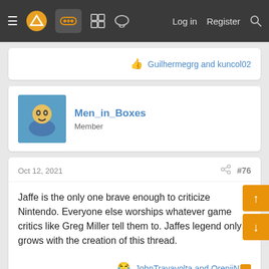Navigation bar with menu, logo, games icon, forum icons, Log in, Register, Search
👍 Guilhermegrg and kuncol02
Men_in_Boxes
Member
Oct 12, 2021  #76
Jaffe is the only one brave enough to criticize Nintendo. Everyone else worships whatever game critics like Greg Miller tell them to. Jaffes legend only grows with the creation of this thread.
😂 JohnTravavolta and OrenjiN...
HTK